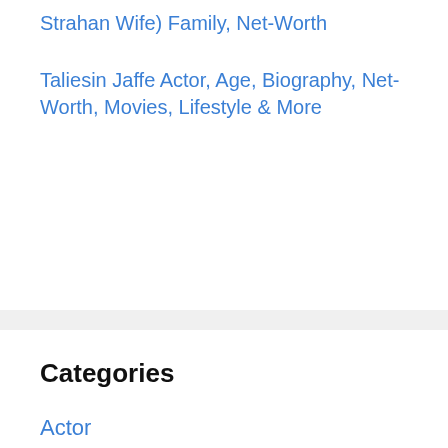Strahan Wife) Family, Net-Worth
Taliesin Jaffe Actor, Age, Biography, Net-Worth, Movies, Lifestyle & More
Categories
Actor
Actress
Football
Model